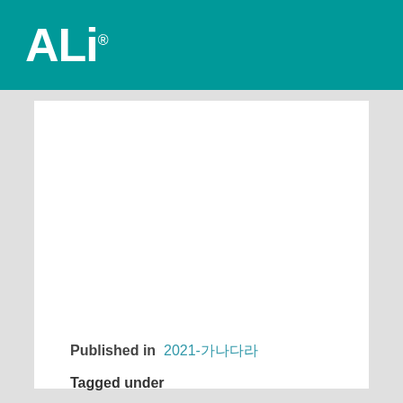ALi.
Published in  2021-가나다라
Tagged under
Read more...